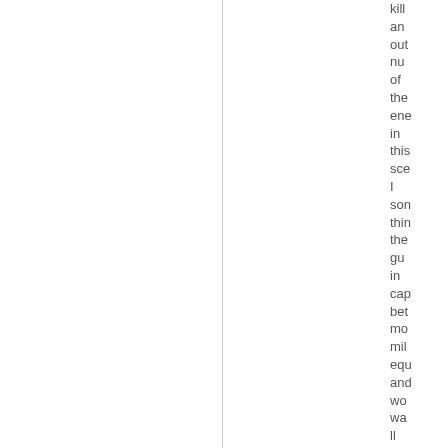kill an out nu of the ene in this sce I son thin the gu in ca be mo mil eq and wo wa ll